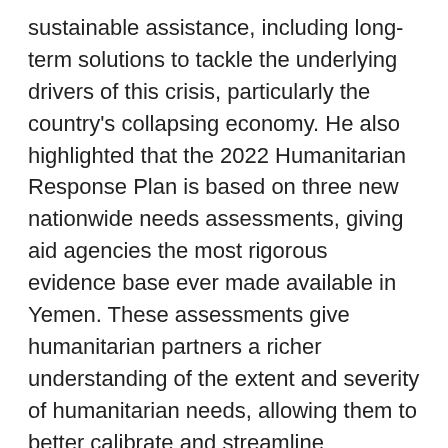sustainable assistance, including long-term solutions to tackle the underlying drivers of this crisis, particularly the country's collapsing economy. He also highlighted that the 2022 Humanitarian Response Plan is based on three new nationwide needs assessments, giving aid agencies the most rigorous evidence base ever made available in Yemen. These assessments give humanitarian partners a richer understanding of the extent and severity of humanitarian needs, allowing them to better calibrate and streamline intervention prorgammes, targeting those most in need of assistance.
Speaking at the Security Council briefing on cooperation between the UN and the League of Arab States a week after the pledging event, Mr. Guterres said that he was “deeply disappointed” that the response plan received less than a third of the funds so urgently needed, urging Arab League members to support the Yemen aid operation. Similarly, Mr.